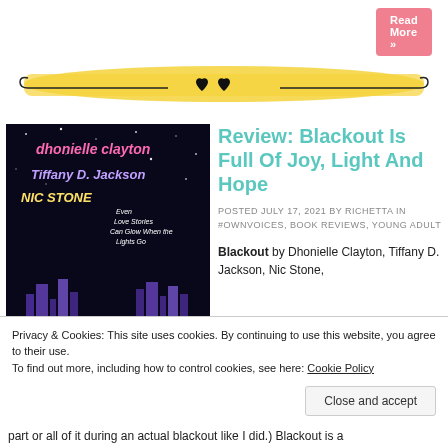[Figure (other): Pink 'Read More »' button in top right corner]
[Figure (illustration): Decorative divider with yellow/gold brushstroke background and two black hearts in center with curling ornamental lines on either side]
[Figure (photo): Book cover of 'Blackout' with dark background, author names Dhonielle Clayton, Tiffany D. Jackson, Nic Stone in colorful text, tagline 'Even Love Stories Can Glow When the Lights Go', and large white 'BLACKOUT' text with purple city skyline illustration]
Review: Blackout Is Full Of Joy, Light And Hope
POSTED JULY 17, 2021 BY RICHETTA IN #OWNVOICES, BOOK REVIEWS, YOUNG ADULT
Blackout by Dhonielle Clayton, Tiffany D. Jackson, Nic Stone,
Privacy & Cookies: This site uses cookies. By continuing to use this website, you agree to their use. To find out more, including how to control cookies, see here: Cookie Policy
Close and accept
part or all of it during an actual blackout like I did.) Blackout is a